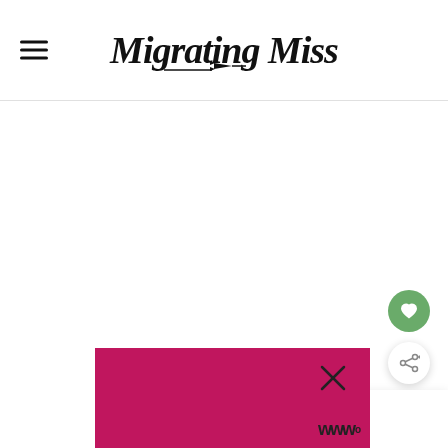Migrating Miss
[Figure (screenshot): Green circle heart/save button (floating action button)]
[Figure (screenshot): White circle share button with share icon (floating action button)]
[Figure (screenshot): WHAT'S NEXT widget showing thumbnail of beach/sea and text 'North Berwick: Th...']
[Figure (screenshot): Magenta/pink banner at the bottom of the page with a close X icon and WW logo]